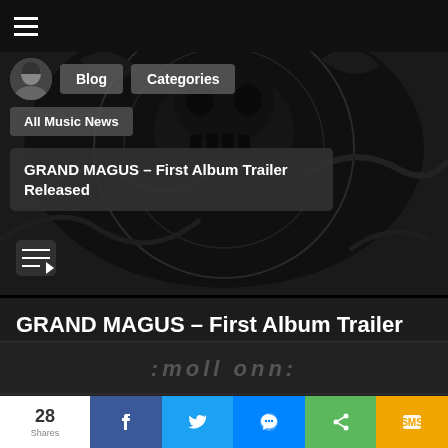≡ (hamburger menu)
[Figure (photo): Dark ornamental/tattoo-style artwork in the hero banner background]
Blog   Categories
All Music News
GRAND MAGUS – First Album Trailer Released
Wednesday March 13 2019, 10:26 PM
THE BEAST
PLATINUM
[Figure (photo): Partial album artwork with text ':moll onn:' visible at bottom of page]
28 Shares | f | 🐦 | 💬 | ⎋ | SMS